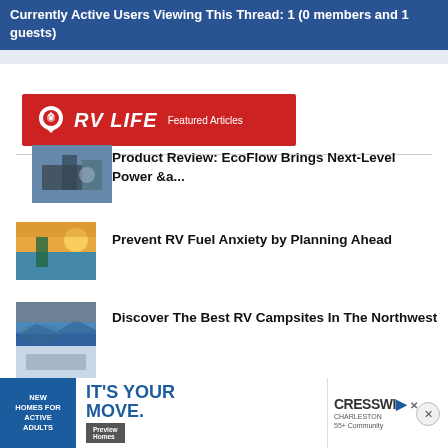Currently Active Users Viewing This Thread: 1 (0 members and 1 guests)
[Figure (logo): RV LIFE Featured Articles red banner logo]
[Figure (photo): Man outside RV with laptop - EcoFlow article thumbnail]
Product Review: EcoFlow Brings Next-Level Power &a...
[Figure (photo): Person fueling RV - Fuel Anxiety article thumbnail]
Prevent RV Fuel Anxiety by Planning Ahead
[Figure (photo): Coastal landscape - Best RV Campsites Northwest thumbnail]
Discover The Best RV Campsites In The Northwest
[Figure (screenshot): Advertisement: Cresswind 55+ Community - IT'S YOUR MOVE. New Homes for Active Adults. Preview Homes.]